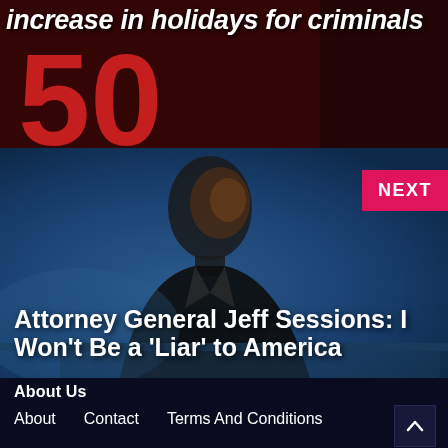increase in holidays for criminals
[Figure (photo): Dark red background with large red number 50 visible]
[Figure (photo): A figure of a man in a dark suit against a blue background with teal/blue tones]
Attorney General Jeff Sessions: I Won't Be a 'Liar' to America
NEXT
About Us
About
Contact
Terms And Conditions